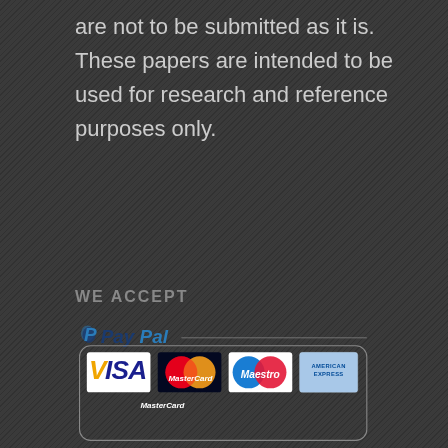are not to be submitted as it is. These papers are intended to be used for research and reference purposes only.
WE ACCEPT
[Figure (logo): PayPal payment widget showing PayPal logo and four payment card logos: VISA, MasterCard, Maestro, and American Express, arranged inside a rounded rectangle border]